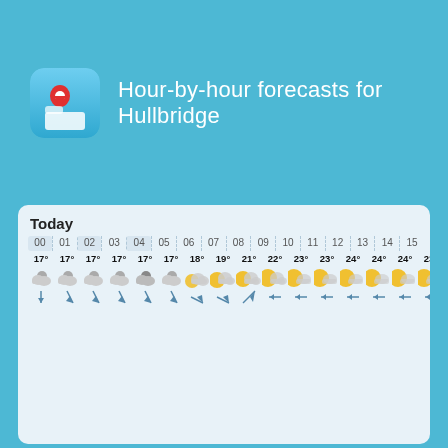[Figure (logo): Weather app icon with red location pin on blue gradient background]
Hour-by-hour forecasts for Hullbridge
Today
| 00 | 01 | 02 | 03 | 04 | 05 | 06 | 07 | 08 | 09 | 10 | 11 | 12 | 13 | 14 | 15 |
| --- | --- | --- | --- | --- | --- | --- | --- | --- | --- | --- | --- | --- | --- | --- | --- |
| 17° | 17° | 17° | 17° | 17° | 17° | 18° | 19° | 21° | 22° | 23° | 23° | 24° | 24° | 24° | 23° |
| cloudy-night | cloudy-night | cloudy-night | cloudy-night | cloudy-night | cloudy-night | partly-cloudy | partly-cloudy | partly-cloudy | partly-cloudy | partly-sunny | partly-sunny | partly-sunny | partly-sunny | partly-sunny | partly-sunny |
| down | down-left | down-left | down-left | down-left | down-left | down-left | down-left | down-right | left | left | left | left | left | left | left |